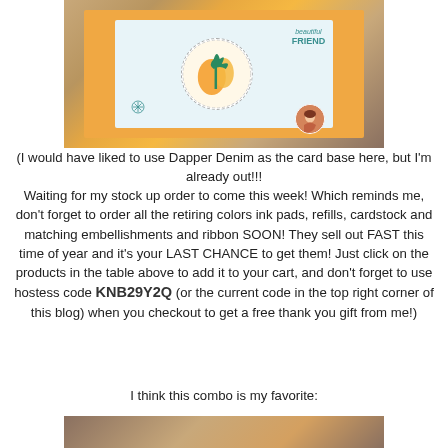[Figure (photo): Photo of a handmade greeting card with orange cardstock base, light blue panel, circular white embellishment with teal bird/leaf design, text reading 'beautiful FRIEND' in teal, and a small avatar circle in the bottom right corner.]
(I would have liked to use Dapper Denim as the card base here, but I'm already out!!!
Waiting for my stock up order to come this week! Which reminds me, don't forget to order all the retiring colors ink pads, refills, cardstock and matching embellishments and ribbon SOON! They sell out FAST this time of year and it's your LAST CHANCE to get them! Just click on the products in the table above to add it to your cart, and don't forget to use hostess code KNB29Y2Q (or the current code in the top right corner of this blog) when you checkout to get a free thank you gift from me!)
I think this combo is my favorite:
[Figure (photo): Partial photo of another handmade card at the bottom of the page, showing warm brown tones.]